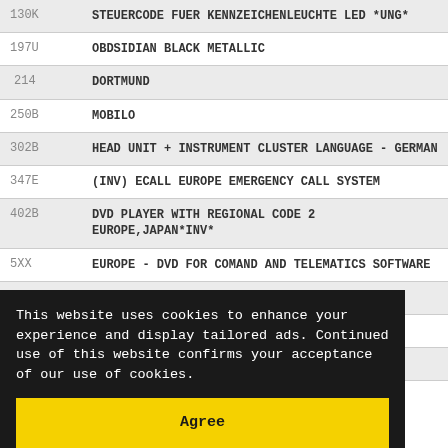| Code | Description |
| --- | --- |
| 130K | STEUERCODE FUER KENNZEICHENLEUCHTE LED *UNG* |
| 197U | OBDSIDIAN BLACK METALLIC |
| 214 | DORTMUND |
| 250B | MOBILO |
| 302B | HEAD UNIT + INSTRUMENT CLUSTER LANGUAGE - GERMAN |
| 347E | (INV) ECALL EUROPE EMERGENCY CALL SYSTEM |
| 402B | DVD PLAYER WITH REGIONAL CODE 2 EUROPE,JAPAN*INV* |
| 5XX | EUROPE - DVD FOR COMAND AND TELEMATICS SOFTWARE |
|  | (ESP) |
|  | ERS |
|  | ER |
This website uses cookies to enhance your experience and display tailored ads. Continued use of this website confirms your acceptance of our use of cookies.